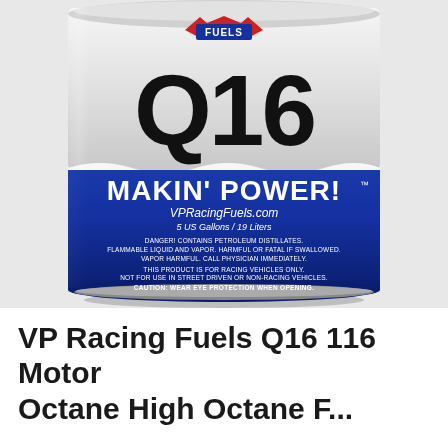[Figure (photo): VP Racing Fuels Q16 fuel can — white top with 'Q16' in large bold black text and VP Fuels logo, blue bottom section with 'MAKIN' POWER!' text, VPRacingFuels.com URL, volume information, and safety warning text. The can is a large metal drum-style container.]
VP Racing Fuels Q16 116 Motor Octane High Octane F...